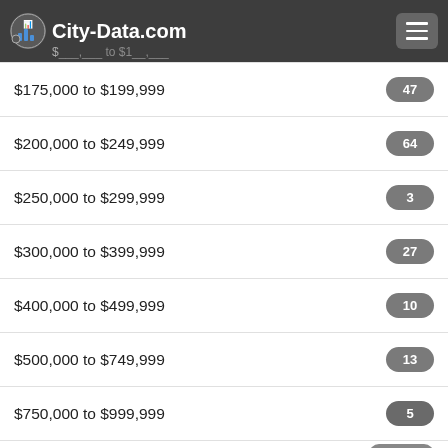City-Data.com
$175,000 to $199,999 — 47
$200,000 to $249,999 — 64
$250,000 to $299,999 — 3
$300,000 to $399,999 — 27
$400,000 to $499,999 — 10
$500,000 to $749,999 — 13
$750,000 to $999,999 — 5
$1,000,000 to $1,499,999 — 1